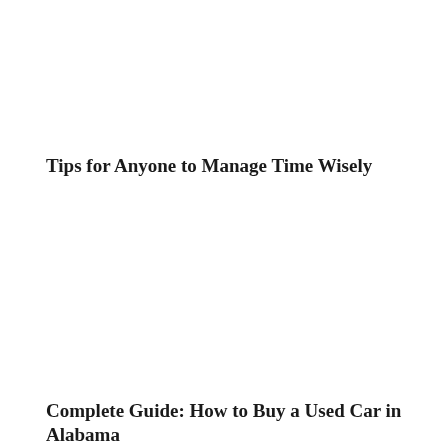Tips for Anyone to Manage Time Wisely
Complete Guide: How to Buy a Used Car in Alabama